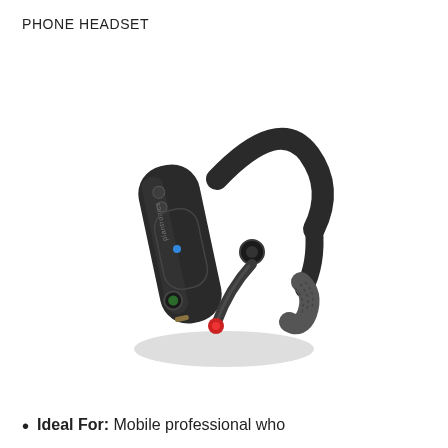PHONE HEADSET
[Figure (photo): A Plantronics Bluetooth phone headset shown from an angle, featuring a dark gray/black design with ear hook, microphone boom, and control buttons. Shadow visible beneath the product.]
Ideal For: Mobile professional who